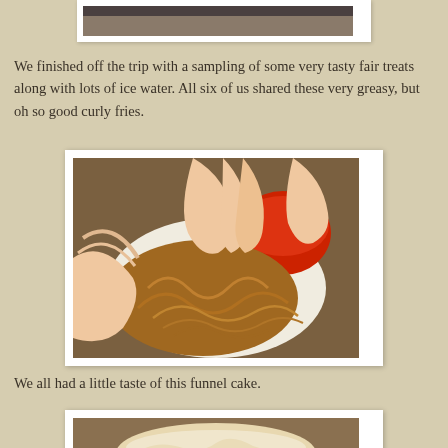[Figure (photo): Top of page partial photo, cropped view of a scene at a fair]
We finished off the trip with a sampling of some very tasty fair treats along with lots of ice water. All six of us shared these very greasy, but oh so good curly fries.
[Figure (photo): Hands picking curly fries from a basket with a small cup of ketchup on a table]
We all had a little taste of this funnel cake.
[Figure (photo): Partial photo at bottom of page showing a funnel cake on a plate]